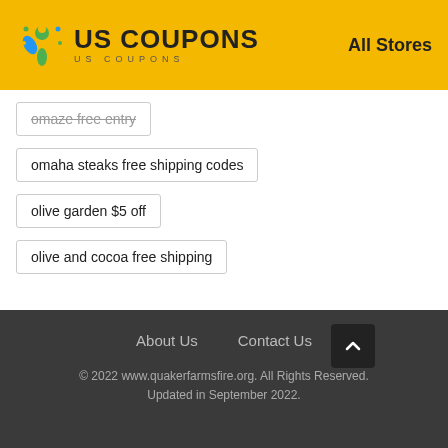US COUPONS — All Stores
omaze free entry
omaha steaks free shipping codes
olive garden $5 off
olive and cocoa free shipping
About Us   Contact Us
© 2022 www.quakerfarmsfire.org. All Rights Reserved. Updated in September 2022.